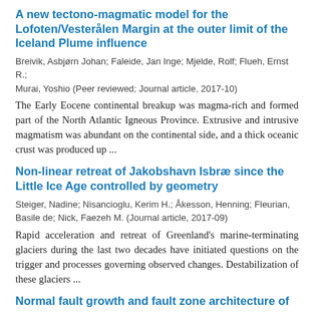A new tectono-magmatic model for the Lofoten/Vesterålen Margin at the outer limit of the Iceland Plume influence
Breivik, Asbjørn Johan; Faleide, Jan Inge; Mjelde, Rolf; Flueh, Ernst R.; Murai, Yoshio (Peer reviewed; Journal article, 2017-10)
The Early Eocene continental breakup was magma-rich and formed part of the North Atlantic Igneous Province. Extrusive and intrusive magmatism was abundant on the continental side, and a thick oceanic crust was produced up ...
Non-linear retreat of Jakobshavn Isbræ since the Little Ice Age controlled by geometry
Steiger, Nadine; Nisancioglu, Kerim H.; Åkesson, Henning; Fleurian, Basile de; Nick, Faezeh M. (Journal article, 2017-09)
Rapid acceleration and retreat of Greenland's marine-terminating glaciers during the last two decades have initiated questions on the trigger and processes governing observed changes. Destabilization of these glaciers ...
Normal fault growth and fault zone architecture of